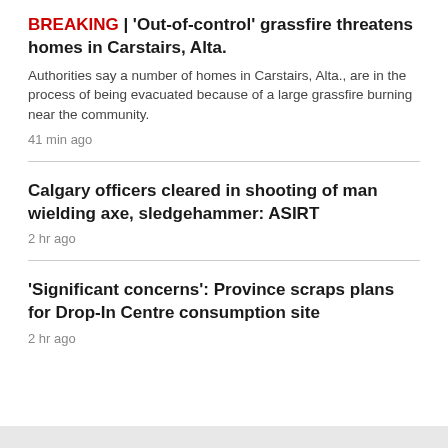BREAKING | 'Out-of-control' grassfire threatens homes in Carstairs, Alta.
Authorities say a number of homes in Carstairs, Alta., are in the process of being evacuated because of a large grassfire burning near the community.
41 min ago
Calgary officers cleared in shooting of man wielding axe, sledgehammer: ASIRT
2 hr ago
'Significant concerns': Province scraps plans for Drop-In Centre consumption site
2 hr ago